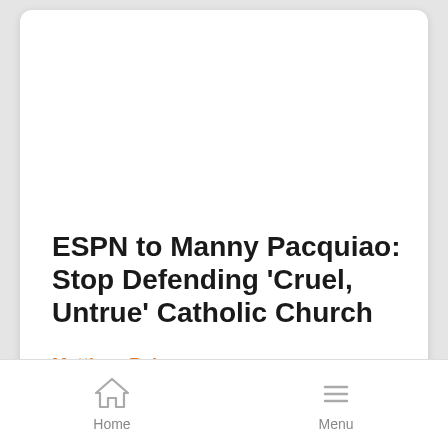ESPN to Manny Pacquiao: Stop Defending 'Cruel, Untrue' Catholic Church
Matthew Balan
Home   Menu